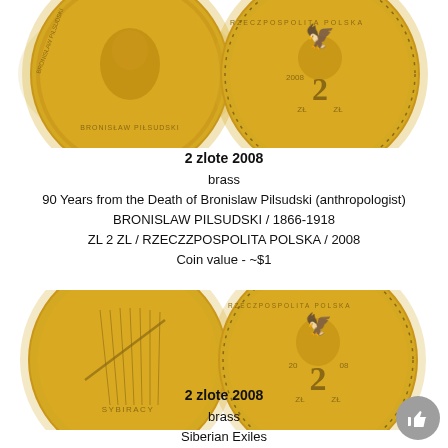[Figure (photo): Two gold-colored Polish 2 zlote coins from 2008 - Bronislaw Pilsudski commemorative. Left coin shows portrait and inscription BRONISLAW PILSUDSKI, right coin shows Polish eagle and denomination 2 ZL with year 2008.]
2 zlote 2008
brass
90 Years from the Death of Bronislaw Pilsudski (anthropologist)
BRONISLAW PILSUDSKI / 1866-1918
ZL 2 ZL / RZECZZPOSPOLITA POLSKA / 2008
Coin value - ~$1
[Figure (photo): Two gold-colored Polish 2 zlote coins from 2008 - Sybiracy (Siberian Exiles) commemorative. Left coin shows monument/memorial design with SYBIRACY inscription, right coin shows Polish eagle and denomination 2 ZL with year 2008.]
2 zlote 2008
brass
Siberian Exiles
SYBIRACY